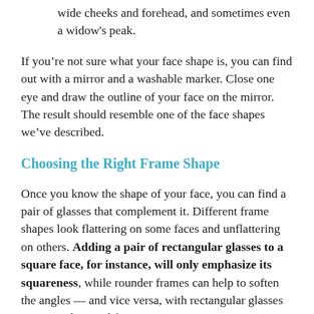wide cheeks and forehead, and sometimes even a widow's peak.
If you're not sure what your face shape is, you can find out with a mirror and a washable marker. Close one eye and draw the outline of your face on the mirror. The result should resemble one of the face shapes we've described.
Choosing the Right Frame Shape
Once you know the shape of your face, you can find a pair of glasses that complement it. Different frame shapes look flattering on some faces and unflattering on others. Adding a pair of rectangular glasses to a square face, for instance, will only emphasize its squareness, while rounder frames can help to soften the angles — and vice versa, with rectangular glasses on a round or oval face.